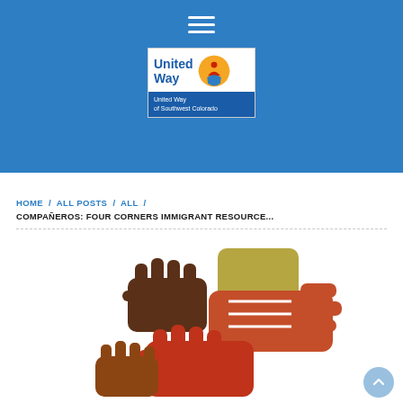[Figure (logo): United Way of Southwest Colorado logo with hamburger menu icon on blue header background]
HOME / ALL POSTS / ALL / COMPAÑEROS: FOUR CORNERS IMMIGRANT RESOURCE...
[Figure (illustration): Illustration of multiple raised fists/hands in different skin tones (brown, dark brown, terracotta/orange, olive/khaki) representing diversity and solidarity]